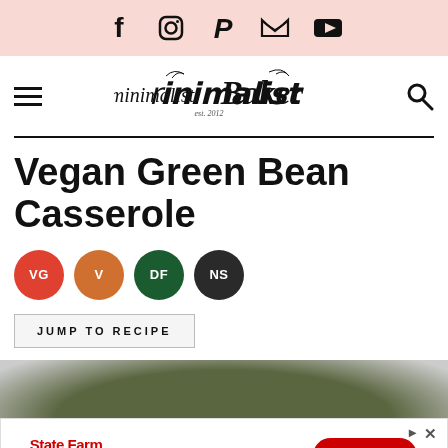Social media icons: Facebook, Instagram, Pinterest, Twitter, YouTube
[Figure (logo): Minimalist Baker logo with est. 2012, hamburger menu on left, search icon on right]
Vegan Green Bean Casserole
[Figure (infographic): Four circular diet badges: VG (red), V (orange), DF (dark green), NS (dark gray)]
JUMP TO RECIPE
[Figure (photo): Top portion of a green bean casserole dish]
[Figure (infographic): State Farm advertisement banner with Get a quote CTA button and **Restrictions apply. text]